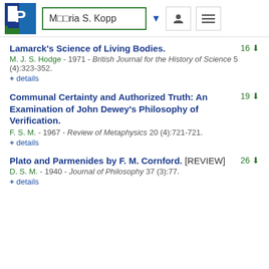M??ria S. Kopp
Lamarck's Science of Living Bodies.
M. J. S. Hodge - 1971 - British Journal for the History of Science 5 (4):323-352.
+ details
Communal Certainty and Authorized Truth: An Examination of John Dewey's Philosophy of Verification.
F. S. M. - 1967 - Review of Metaphysics 20 (4):721-721.
+ details
Plato and Parmenides by F. M. Cornford. [REVIEW]
D. S. M. - 1940 - Journal of Philosophy 37 (3):77.
+ details